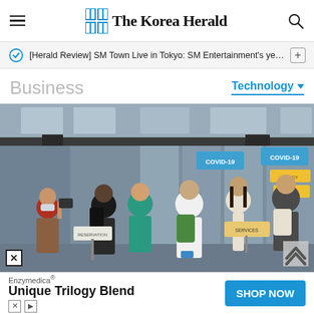The Korea Herald
[Herald Review] SM Town Live in Tokyo: SM Entertainment's year···
Business
Technology
[Figure (photo): Travelers at an airport with COVID-19 signage visible. People wearing masks stand in a queue near check-in or health screening stations. Signs with 'COVID-19' text visible on blue banners.]
Enzymedica® Unique Trilogy Blend SHOP NOW